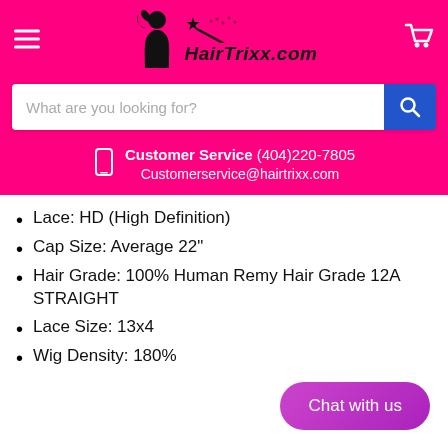[Figure (logo): HairTrixx.com logo with silhouette of woman and magic wand star design on hot pink background]
What are you looking for?
Customer Service (404)220-7805
Customerservice@hairtrixx.com
Lace: HD (High Definition)
Cap Size: Average 22"
Hair Grade: 100% Human Remy Hair Grade 12A STRAIGHT
Lace Size: 13x4
Wig Density: 180%